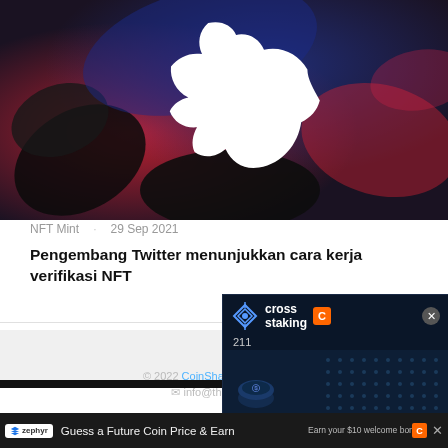[Figure (photo): Twitter bird logo on colorful abstract background with red, blue, and black colors]
NFT Mint   29 Sep 2021
Pengembang Twitter menunjukkan cara kerja verifikasi NFT
[Figure (screenshot): Cross Staking advertisement: dark blue crypto UI with coin graphic, number 211, and yellow text reading NEW CRYPTO TECHNOLOGY: CROSS STAKING]
© 2022 CoinShark Media. Selu…   info@thecoinsha…
[Figure (screenshot): Bottom ad bar: zephyr logo, text 'Guess a Future Coin Price & Earn', and cross staking badge with close button]